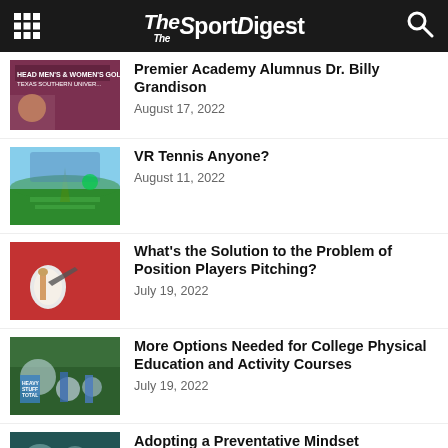The Sport Digest
Premier Academy Alumnus Dr. Billy Grandison
August 17, 2022
VR Tennis Anyone?
August 11, 2022
What's the Solution to the Problem of Position Players Pitching?
July 19, 2022
More Options Needed for College Physical Education and Activity Courses
July 19, 2022
Adopting a Preventative Mindset